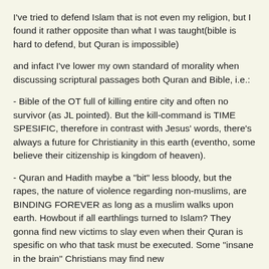I've tried to defend Islam that is not even my religion, but I found it rather opposite than what I was taught(bible is hard to defend, but Quran is impossible)
and infact I've lower my own standard of morality when discussing scriptural passages both Quran and Bible, i.e.:
- Bible of the OT full of killing entire city and often no survivor (as JL pointed). But the kill-command is TIME SPESIFIC, therefore in contrast with Jesus' words, there's always a future for Christianity in this earth (eventho, some believe their citizenship is kingdom of heaven).
- Quran and Hadith maybe a "bit" less bloody, but the rapes, the nature of violence regarding non-muslims, are BINDING FOREVER as long as a muslim walks upon earth. Howbout if all earthlings turned to Islam? They gonna find new victims to slay even when their Quran is spesific on who that task must be executed. Some "insane in the brain" Christians may find new